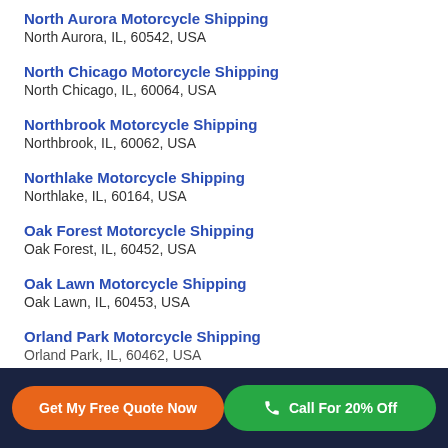North Aurora Motorcycle Shipping
North Aurora, IL, 60542, USA
North Chicago Motorcycle Shipping
North Chicago, IL, 60064, USA
Northbrook Motorcycle Shipping
Northbrook, IL, 60062, USA
Northlake Motorcycle Shipping
Northlake, IL, 60164, USA
Oak Forest Motorcycle Shipping
Oak Forest, IL, 60452, USA
Oak Lawn Motorcycle Shipping
Oak Lawn, IL, 60453, USA
Orland Park Motorcycle Shipping
Orland Park, IL, 60462, USA
Get My Free Quote Now | Call For 20% Off